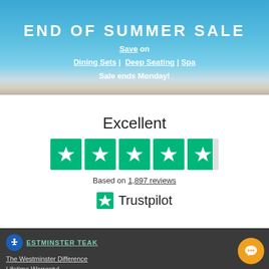[Figure (screenshot): Banner with blue sky background showing 'END OF SUMMER SALE' text with links to Dining Sets, Deep Seating, Spa]
END OF SUMMER SALE
Save on Dining Sets | Deep Seating | Spa Sale ends Monday!
Excellent
[Figure (other): Five Trustpilot green star rating boxes]
Based on 1,897 reviews
[Figure (logo): Trustpilot logo with green star]
WESTMINSTER TEAK | The Westminster Difference | Lifetime Warranty! | Request Catalog | Testimonials